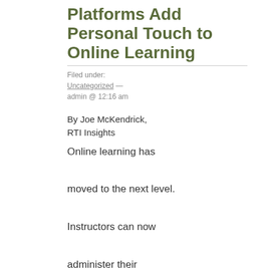Platforms Add Personal Touch to Online Learning
Filed under: Uncategorized — admin @ 12:16 am
By Joe McKendrick, RTI Insights
Online learning has moved to the next level. Instructors can now administer their courses with real-time data feeds, enabling interactions in the moment. As education is increasingly delivered online, there are new